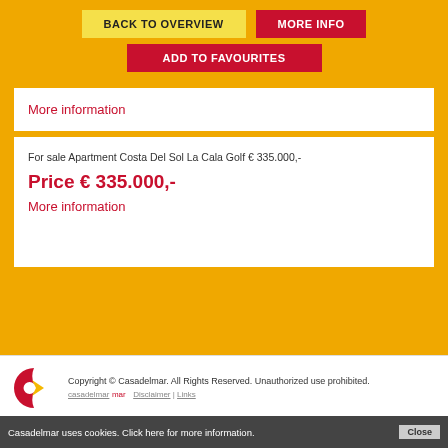BACK TO OVERVIEW | MORE INFO | ADD TO FAVOURITES
More information
For sale Apartment Costa Del Sol La Cala Golf € 335.000,-
Price € 335.000,-
More information
[Figure (logo): Casadelmar logo: red C shape with yellow arrow/chevron inside]
Copyright © Casadelmar. All Rights Reserved. Unauthorized use prohibited. Disclaimer | Links
Casadelmar uses cookies. Click here for more information.